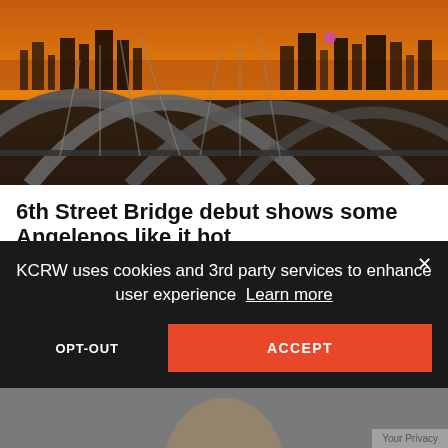[Figure (photo): Aerial/ground-level view of the 6th Street Bridge in Los Angeles at sunset/dusk, with arched bridge structures in foreground and city skyline glowing orange in background]
6th Street Bridge debut shows some Angelenos like it hot
CALIFORNIA
Commentator Joe Matthews says LA residents did what they tend to do when the $588 million 6th Street Bridge opened: They tested limits.
KCRW uses cookies and 3rd party services to enhance user experience  Learn more
OPT-OUT
ACCEPT
Your Privacy